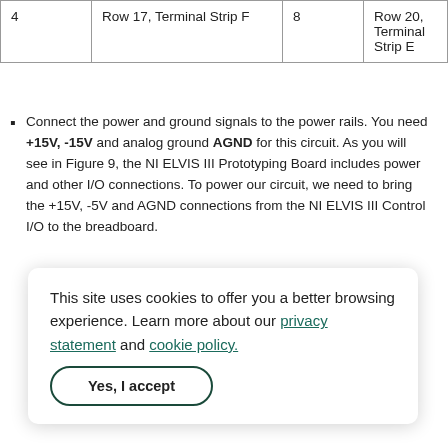| 4 | Row 17, Terminal Strip F | 8 | Row 20, Terminal Strip E |
Connect the power and ground signals to the power rails. You need +15V, -15V and analog ground AGND for this circuit. As you will see in Figure 9, the NI ELVIS III Prototyping Board includes power and other I/O connections. To power our circuit, we need to bring the +15V, -5V and AGND connections from the NI ELVIS III Control I/O to the breadboard.
[Figure (screenshot): Partial screenshot of the NI ELVIS III Prototyping Board showing a dark blue panel labeled 'HD' and 'B'.]
This site uses cookies to offer you a better browsing experience. Learn more about our privacy statement and cookie policy. Yes, I accept